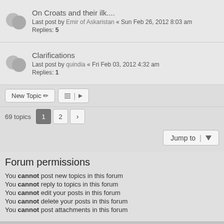On Croats and their ilk.... Last post by Emir of Askaristan « Sun Feb 26, 2012 8:03 am Replies: 5
Clarifications Last post by quindia « Fri Feb 03, 2012 4:32 am Replies: 1
69 topics  1  2  >
Jump to
Forum permissions
You cannot post new topics in this forum
You cannot reply to topics in this forum
You cannot edit your posts in this forum
You cannot delete your posts in this forum
You cannot post attachments in this forum
Board index  Contact us  The team
Powered by phpBB® Forum Software © phpBB Limited
Color scheme created with Colorize It.
Style by Arty - Update phpBB 3.2 by MrGaby
GZIP: Off